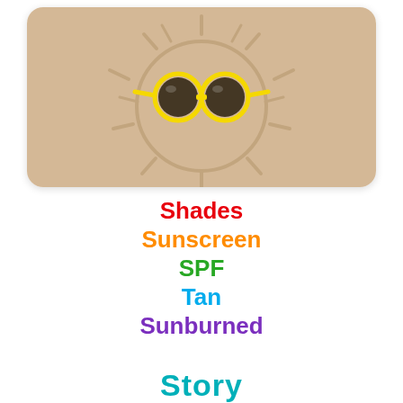[Figure (photo): A top-down photo of sand with a sun-shaped impression, with yellow round sunglasses placed as eyes, on a warm beige sandy background]
Shades
Sunscreen
SPF
Tan
Sunburned
Story